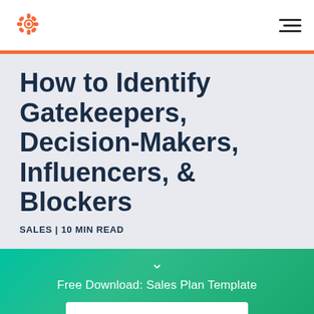HubSpot logo | Navigation menu
How to Identify Gatekeepers, Decision-Makers, Influencers, & Blockers
SALES | 10 MIN READ
[Figure (infographic): Green gradient promotional banner with chevron down arrow, text 'Free Download: Sales Plan Template', and a white 'Get it now' button]